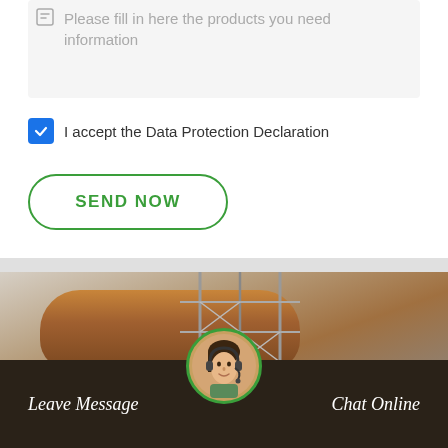Please fill in here the products you need information
I accept the Data Protection Declaration
SEND NOW
[Figure (photo): Industrial scene showing a large rotary cylinder/drum on scaffolding at a construction or manufacturing site, with a light sky in background]
Leave Message
Chat Online